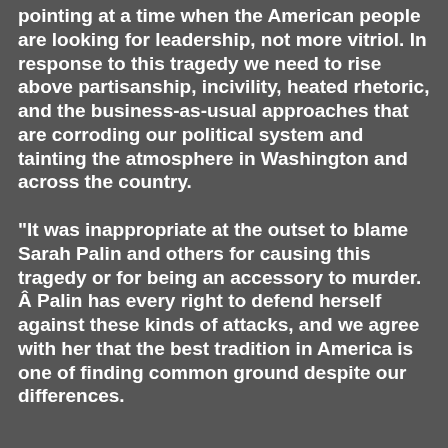pointing at a time when the American people are looking for leadership, not more vitriol. In response to this tragedy we need to rise above partisanship, incivility, heated rhetoric, and the business-as-usual approaches that are corroding our political system and tainting the atmosphere in Washington and across the country.
"It was inappropriate at the outset to blame Sarah Palin and others for causing this tragedy or for being an accessory to murder. Â Palin has every right to defend herself against these kinds of attacks, and we agree with her that the best tradition in America is one of finding common ground despite our differences.